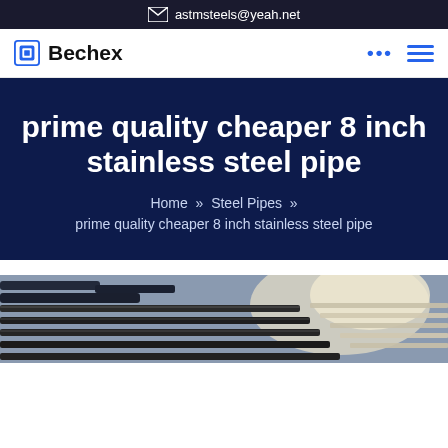astmsteels@yeah.net
Bechex
prime quality cheaper 8 inch stainless steel pipe
Home » Steel Pipes » prime quality cheaper 8 inch stainless steel pipe
[Figure (photo): Steel pipes stacked in a warehouse/yard, showing rows of dark steel pipes extending into the distance with bright light in background.]